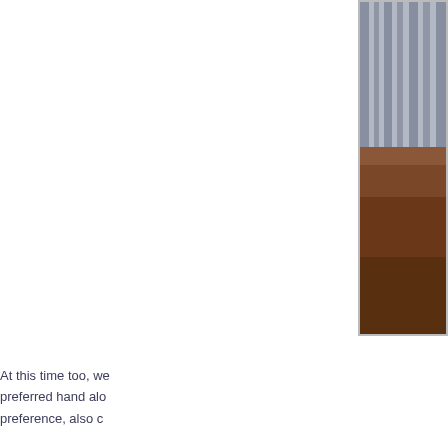[Figure (photo): Partial photo of a person or object, cropped at the right edge of the page, showing curtains/drapes at top and a brown wooden surface below.]
At this time too, we preferred hand alo preference, also c
Caplan observes:
…The indepen mothers. In fa even tantrums environment... and use it to k finger foods a